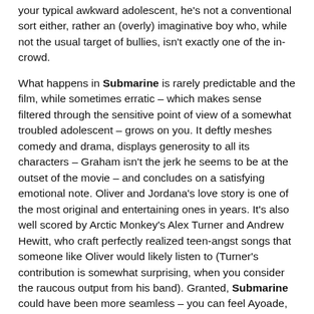your typical awkward adolescent, he's not a conventional sort either, rather an (overly) imaginative boy who, while not the usual target of bullies, isn't exactly one of the in-crowd.
What happens in Submarine is rarely predictable and the film, while sometimes erratic – which makes sense filtered through the sensitive point of view of a somewhat troubled adolescent – grows on you. It deftly meshes comedy and drama, displays generosity to all its characters – Graham isn't the jerk he seems to be at the outset of the movie – and concludes on a satisfying emotional note. Oliver and Jordana's love story is one of the most original and entertaining ones in years. It's also well scored by Arctic Monkey's Alex Turner and Andrew Hewitt, who craft perfectly realized teen-angst songs that someone like Oliver would likely listen to (Turner's contribution is somewhat surprising, when you consider the raucous output from his band). Granted, Submarine could have been more seamless – you can feel Ayoade, who adapted the screenplay from Joe Dunthorne's novel, occasionally trying too hard to push the film along. Nonetheless, it's a striking debut from a filmmaker with a very promising future.